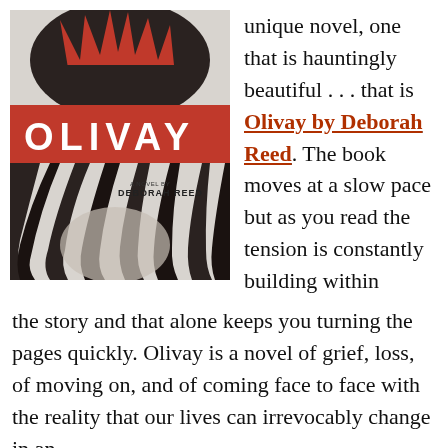[Figure (illustration): Book cover of 'OLIVAY' by Deborah Reed. Features a woman with long dark hair blowing upward, with red flame-like shapes at the top. The title 'OLIVAY' appears in large white letters on a red band across the middle. Below is 'A NOVEL BY DEBORAH REED' in small text.]
unique novel, one that is hauntingly beautiful . . . that is Olivay by Deborah Reed. The book moves at a slow pace but as you read the tension is constantly building within the story and that alone keeps you turning the pages quickly. Olivay is a novel of grief, loss, of moving on, and of coming face to face with the reality that our lives can irrevocably change in an instant.